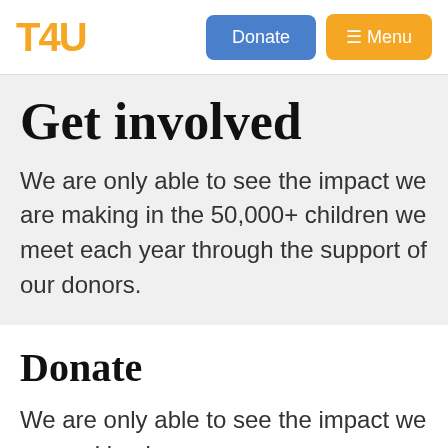T4U — Donate — Menu
Get involved
We are only able to see the impact we are making in the 50,000+ children we meet each year through the support of our donors.
Donate
We are only able to see the impact we are making i...